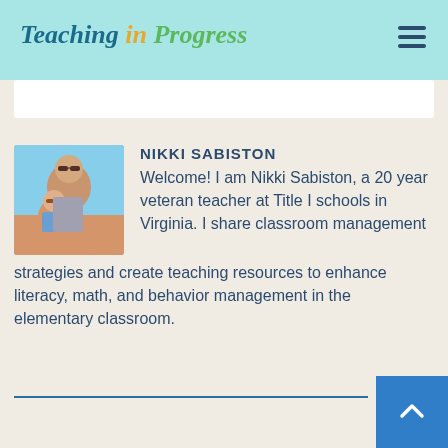Teaching in Progress
[Figure (photo): Profile photo of Nikki Sabiston with a child, both wearing sunglasses outdoors]
NIKKI SABISTON
Welcome! I am Nikki Sabiston, a 20 year veteran teacher at Title I schools in Virginia. I share classroom management strategies and create teaching resources to enhance literacy, math, and behavior management in the elementary classroom.